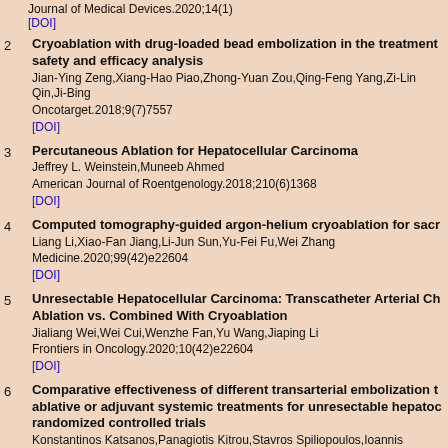Journal of Medical Devices.2020;14(1)
[DOI]
2 Cryoablation with drug-loaded bead embolization in the treatment safety and efficacy analysis
Jian-Ying Zeng,Xiang-Hao Piao,Zhong-Yuan Zou,Qing-Feng Yang,Zi-Lin Qin,Ji-Bing...
Oncotarget.2018;9(7)7557
[DOI]
3 Percutaneous Ablation for Hepatocellular Carcinoma
Jeffrey L. Weinstein,Muneeb Ahmed
American Journal of Roentgenology.2018;210(6)1368
[DOI]
4 Computed tomography-guided argon-helium cryoablation for sacr...
Liang Li,Xiao-Fan Jiang,Li-Jun Sun,Yu-Fei Fu,Wei Zhang
Medicine.2020;99(42)e22604
[DOI]
5 Unresectable Hepatocellular Carcinoma: Transcatheter Arterial Ch... Ablation vs. Combined With Cryoablation
Jialiang Wei,Wei Cui,Wenzhe Fan,Yu Wang,Jiaping Li
Frontiers in Oncology.2020;10(42)e22604
[DOI]
6 Comparative effectiveness of different transarterial embolization th... ablative or adjuvant systemic treatments for unresectable hepatoc... randomized controlled trials
Konstantinos Katsanos,Panagiotis Kitrou,Stavros Spiliopoulos,Ioannis Maroulis,The...
PLOS ONE.2017;12(9)e0184597
[DOI]
7 RNA binding protein serine/arginine splicing factor 1 promotes the... hepatocellular carcinoma by interacting with RecQ protein-like 4 m...
Ying Ye,Feng Yu,Zhao Li,Yaping Xie,Xiaohong Yu
Bioengineered.2021;12(1)6144
[DOI]